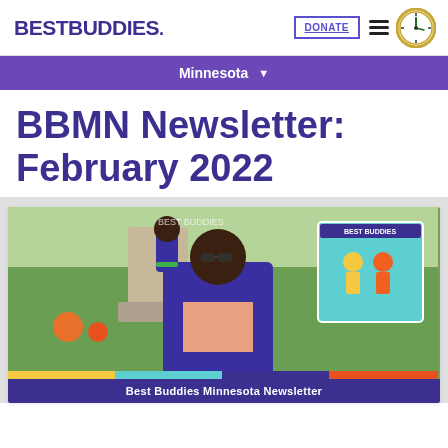BEST BUDDIES. | DONATE | [menu] [clock]
Minnesota ▼
BBMN Newsletter: February 2022
[Figure (photo): Young man in a blue blazer and salmon t-shirt with Best Buddies logo, wearing sunglasses and raising his fist, smiling in front of a fountain and Best Buddies banner outdoors. A Best Buddies colorful logo illustration is in the upper right corner.]
Best Buddies Minnesota Newsletter